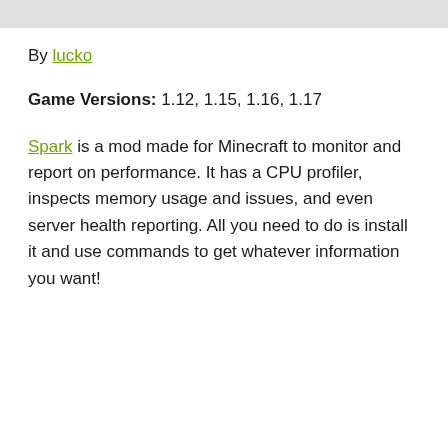By lucko
Game Versions: 1.12, 1.15, 1.16, 1.17
Spark is a mod made for Minecraft to monitor and report on performance. It has a CPU profiler, inspects memory usage and issues, and even server health reporting. All you need to do is install it and use commands to get whatever information you want!